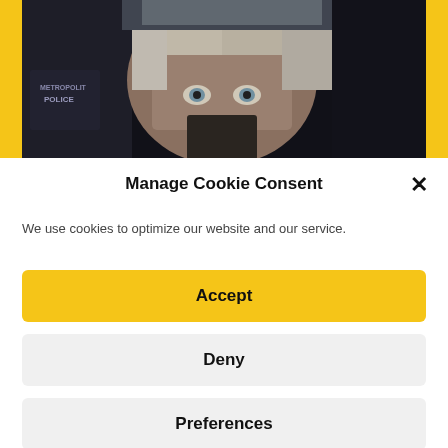[Figure (photo): A man with grey hair and blue eyes facing the camera, flanked by figures in Metropolitan Police uniforms, dark dramatic scene]
Manage Cookie Consent
We use cookies to optimize our website and our service.
Accept
Deny
Preferences